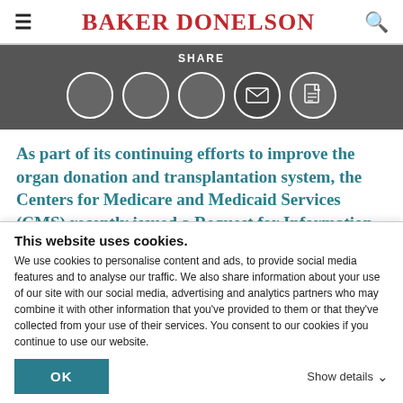BAKER DONELSON
[Figure (infographic): Share bar with SHARE label and five circular social sharing icons (three plain, one envelope/email, one document/PDF) on dark gray background]
As part of its continuing efforts to improve the organ donation and transplantation system, the Centers for Medicare and Medicaid Services (CMS) recently issued a Request for Information
This website uses cookies.
We use cookies to personalise content and ads, to provide social media features and to analyse our traffic. We also share information about your use of our site with our social media, advertising and analytics partners who may combine it with other information that you've provided to them or that they've collected from your use of their services. You consent to our cookies if you continue to use our website.